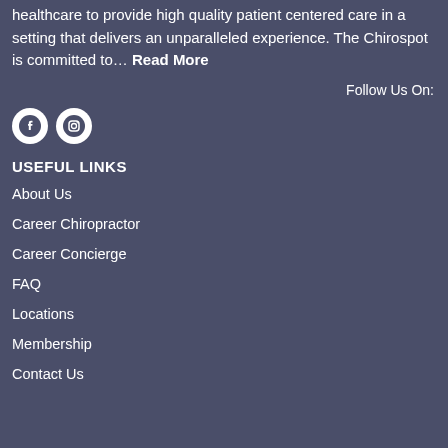healthcare to provide high quality patient centered care in a setting that delivers an unparalleled experience. The Chirospot is committed to… Read More
Follow Us On:
[Figure (illustration): Facebook and Instagram social media icon circles in white]
USEFUL LINKS
About Us
Career Chiropractor
Career Concierge
FAQ
Locations
Membership
Contact Us